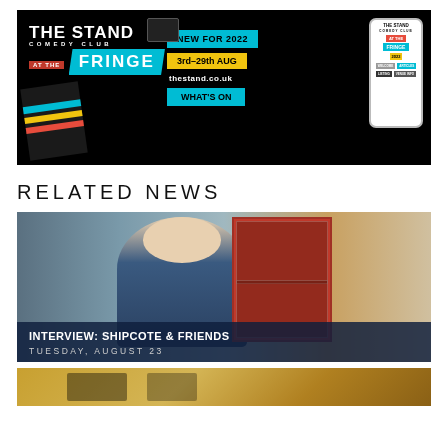[Figure (illustration): The Stand Comedy Club at the Fringe promotional banner. Black background with white logo text 'THE STAND COMEDY CLUB', red 'AT THE' box, cyan 'FRINGE' speech bubble. Center shows 'NEW FOR 2022', '3rd-29th AUG', 'thestand.co.uk', 'WHAT'S ON'. Right side shows smartphone mockup with the app interface. A brochure/programme is shown at bottom left.]
RELATED NEWS
[Figure (photo): Photo of a smiling older man with grey hair wearing a blue jacket over a striped shirt, standing in front of a red cabinet/wardrobe. Dark overlay at bottom with text 'INTERVIEW: SHIPCOTE & FRIENDS' and date 'TUESDAY, AUGUST 23'.]
INTERVIEW: SHIPCOTE & FRIENDS
TUESDAY, AUGUST 23
[Figure (photo): Partially visible photo at bottom of page with golden/warm toned background, appears to show people.]